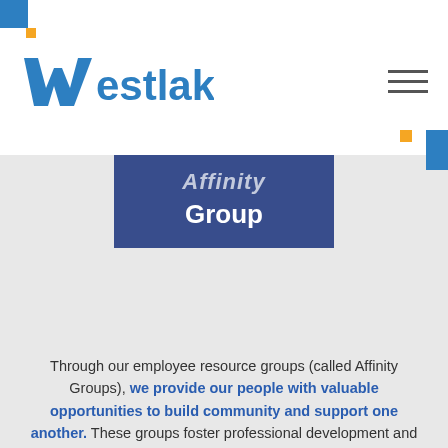[Figure (logo): Westlake company logo with blue W and blue text]
Affinity Group
Through our employee resource groups (called Affinity Groups), we provide our people with valuable opportunities to build community and support one another. These groups foster professional development and recognize their peers accomplishments while also offering an open forum for discussion and support.
Giving Back to